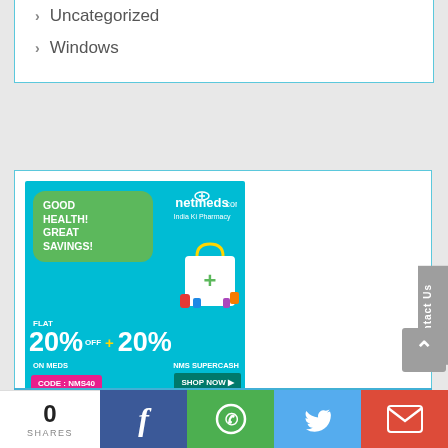Uncategorized
Windows
[Figure (infographic): Netmeds.com advertisement: GOOD HEALTH! GREAT SAVINGS! FLAT 20% OFF ON MEDS + 20% NMS SUPERCASH, CODE: NMS40, SHOP NOW, Minimum Order Value: Rs. 500, T&C Apply]
Contact Us
YOU MAY LIKE
0 SHARES
Facebook share
WhatsApp share
Twitter share
Gmail share